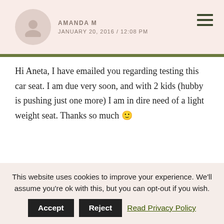AMANDA M — JANUARY 20, 2016 / 12:08 PM
Hi Aneta, I have emailed you regarding testing this car seat. I am due very soon, and with 2 kids (hubby is pushing just one more) I am in dire need of a light weight seat. Thanks so much 🙂
AMANDA NEILSON — JANUARY 20, 2016 / 12:54 PM
Hi Antea, I just emailed you my application in regards
This website uses cookies to improve your experience. We'll assume you're ok with this, but you can opt-out if you wish. Accept | Reject | Read Privacy Policy